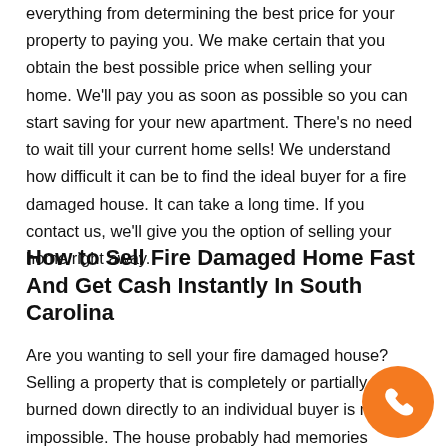everything from determining the best price for your property to paying you. We make certain that you obtain the best possible price when selling your home. We'll pay you as soon as possible so you can start saving for your new apartment. There's no need to wait till your current home sells! We understand how difficult it can be to find the ideal buyer for a fire damaged house. It can take a long time. If you contact us, we'll give you the option of selling your home right away.
How to Sell Fire Damaged Home Fast And Get Cash Instantly In South Carolina
Are you wanting to sell your fire damaged house? Selling a property that is completely or partially burned down directly to an individual buyer is next to impossible. The house probably had memories attached to it, you might have lost someone in the fire, or you got crucially burned, the scenarios are many and each one unique. Whatever the scenario may be the straight to your new from here bent to sell the...